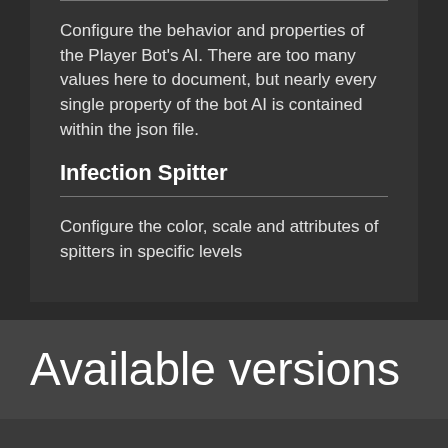Configure the behavior and properties of the Player Bot's AI. There are too many values here to document, but nearly every single property of the bot AI is contained within the json file.
Infection Spitter
Configure the color, scale and attributes of spitters in specific levels
Available versions
Please note that the install buttons only work if you have compatible client software installed, such as the Thunderstore Mod Manager. Otherwise use the zip